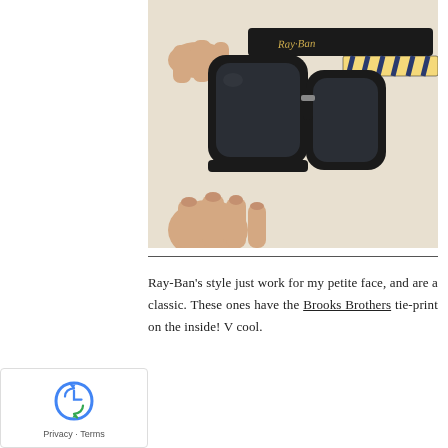[Figure (photo): A hand holding a pair of black Ray-Ban Wayfarer sunglasses. The Ray-Ban logo is visible in gold script on the temple. The inside of the temple arm shows a Brooks Brothers tie-print pattern with yellow and navy diagonal stripes.]
Ray-Ban's style just work for my petite face, and are a classic. These ones have the Brooks Brothers tie-print on the inside! V cool.